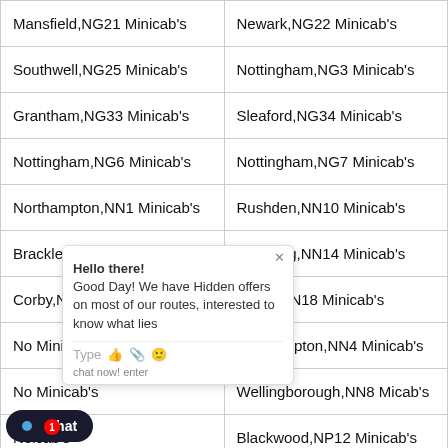| Mansfield,NG21 Minicab's | Newark,NG22 Minicab's |
| Southwell,NG25 Minicab's | Nottingham,NG3 Minicab's |
| Grantham,NG33 Minicab's | Sleaford,NG34 Minicab's |
| Nottingham,NG6 Minicab's | Nottingham,NG7 Minicab's |
| Northampton,NN1 Minicab's | Rushden,NN10 Minicab's |
| Brackley,NN13 Minicab's | Kettering,NN14 Minicab's |
| Corby,NN17 Minicab's | Corby,NN18 Minicab's |
| No[partially hidden] Minicab's | Northampton,NN4 Minicab's |
| No[partially hidden] Minicab's | Wellingborough,NN8 Minicab's |
| Ne[partially hidden]icab's | Blackwood,NP12 Minicab's |
| Ch[partially hidden]nicab's | Newport,NP18 Minicab's |
| [partially hidden],NP22 Minicab's | Ebbw Vale,NP23 Minicab's |